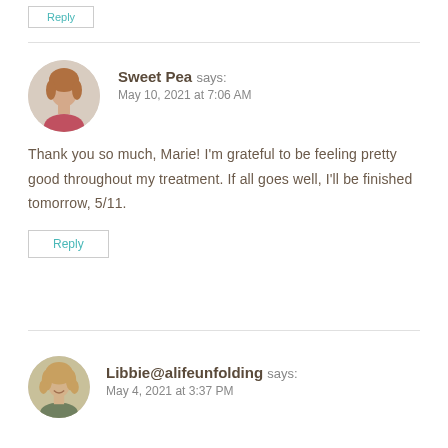Reply
Sweet Pea says:
May 10, 2021 at 7:06 AM
Thank you so much, Marie! I'm grateful to be feeling pretty good throughout my treatment. If all goes well, I'll be finished tomorrow, 5/11.
Reply
Libbie@alifeunfolding says:
May 4, 2021 at 3:37 PM